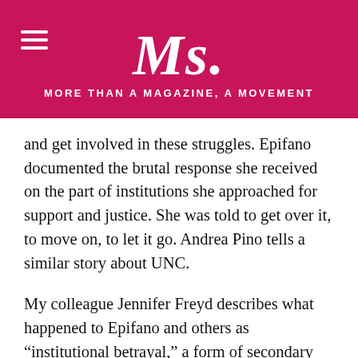Ms. MORE THAN A MAGAZINE, A MOVEMENT
and get involved in these struggles. Epifano documented the brutal response she received on the part of institutions she approached for support and justice. She was told to get over it, to move on, to let it go. Andrea Pino tells a similar story about UNC.
My colleague Jennifer Freyd describes what happened to Epifano and others as “institutional betrayal,” a form of secondary victimization that occurs when institutions seek to cover up, repress or punish those who speak out about sexual violence. As feminist critic Sara Ahmed put it recently in a book about diversity on college campuses, representatives of institutions all too